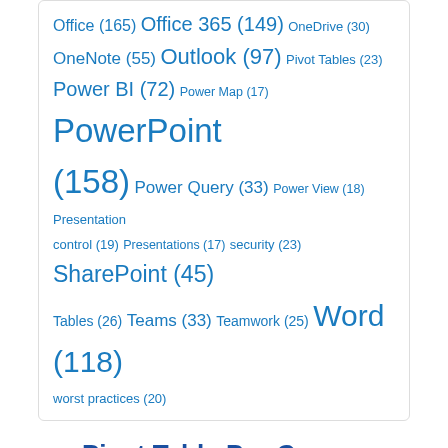Office (165) Office 365 (149) OneDrive (30) OneNote (55) Outlook (97) Pivot Tables (23) Power BI (72) Power Map (17) PowerPoint (158) Power Query (33) Power View (18) Presentation control (19) Presentations (17) security (23) SharePoint (45) Tables (26) Teams (33) Teamwork (25) Word (118) worst practices (20)
Pivot Table Pro Course
Yes. You use Pivot Tables everyday. Now it is time to find out the real power and nuances. 5.5 hours video, exercises, samples, Q&A.
[Figure (photo): Photo of mountain landscape with a tablet/device showing a pivot table interface, blue sky background]